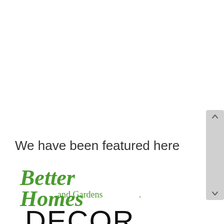We have been featured here
[Figure (logo): Better Homes and Gardens logo in green]
[Figure (logo): ELLE DECOR logo in black]